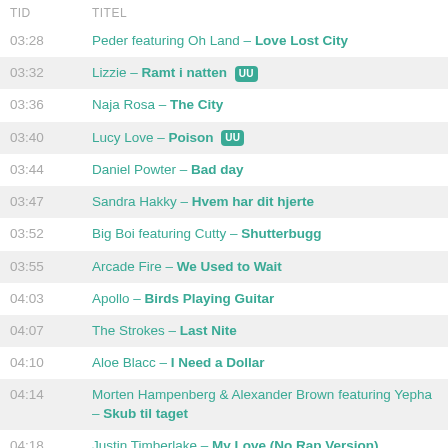| TID | TITEL |
| --- | --- |
| 03:28 | Peder featuring Oh Land – Love Lost City |
| 03:32 | Lizzie – Ramt i natten [UU] |
| 03:36 | Naja Rosa – The City |
| 03:40 | Lucy Love – Poison [UU] |
| 03:44 | Daniel Powter – Bad day |
| 03:47 | Sandra Hakky – Hvem har dit hjerte |
| 03:52 | Big Boi featuring Cutty – Shutterbugg |
| 03:55 | Arcade Fire – We Used to Wait |
| 04:03 | Apollo – Birds Playing Guitar |
| 04:07 | The Strokes – Last Nite |
| 04:10 | Aloe Blacc – I Need a Dollar |
| 04:14 | Morten Hampenberg & Alexander Brown featuring Yepha – Skub til taget |
| 04:18 | Justin Timberlake – My Love (No Rap Version) |
| 04:21 | The National – Anyone's Ghost |
| 04:24 | Kenneth Bager – Fragment Two (The First Picture) [UU] |